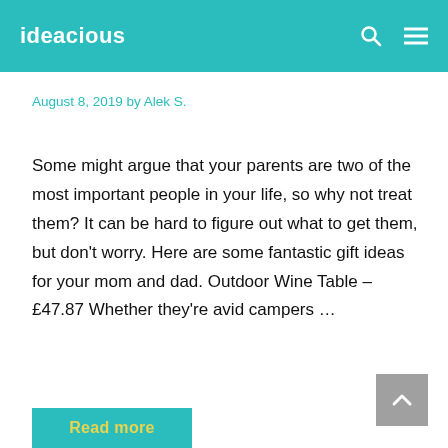ideacious
August 8, 2019 by Alek S.
Some might argue that your parents are two of the most important people in your life, so why not treat them? It can be hard to figure out what to get them, but don't worry. Here are some fantastic gift ideas for your mom and dad. Outdoor Wine Table – £47.87 Whether they're avid campers …
Read more